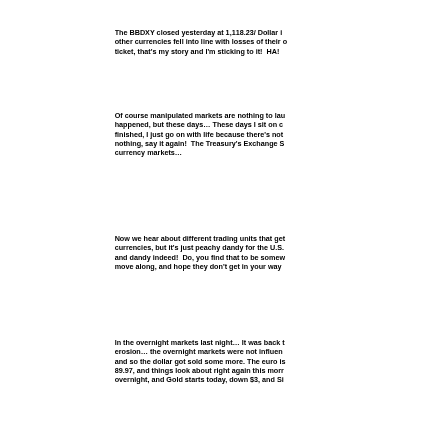The BBDXY closed yesterday at 1,118.23/ Dollar i... other currencies fell into line with losses of their... ticket, that's my story and I'm sticking to it!  HA!
Of course manipulated markets are nothing to lau... happened, but these days… These days I sit on c... finished, I just go on with life because there's not... nothing, say it again!  The Treasury's Exchange S... currency markets…
Now we hear about different trading units that get... currencies, but it's just peachy dandy for the U.S.... and dandy indeed!  Do, you find that to be somew... move along, and hope they don't get in your way
In the overnight markets last night… It was back t... erosion… the overnight markets were not influen... and so the dollar got sold some more. The euro is... 89.97, and things look about right again this morr... overnight, and Gold starts today, down $3, and Si...